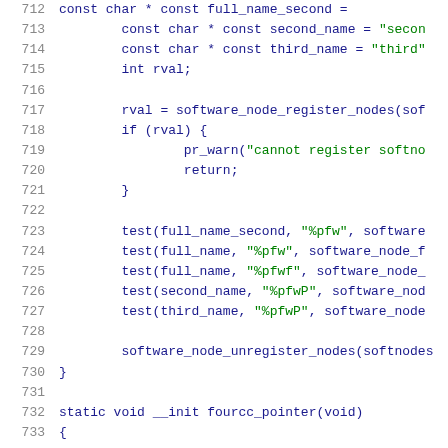Code listing lines 712-733, C source code showing software node registration and test calls